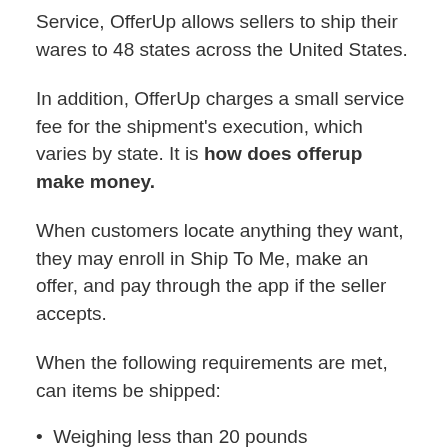Service, OfferUp allows sellers to ship their wares to 48 states across the United States.
In addition, OfferUp charges a small service fee for the shipment's execution, which varies by state. It is how does offerup make money.
When customers locate anything they want, they may enroll in Ship To Me, make an offer, and pay through the app if the seller accepts.
When the following requirements are met, can items be shipped:
Weighing less than 20 pounds